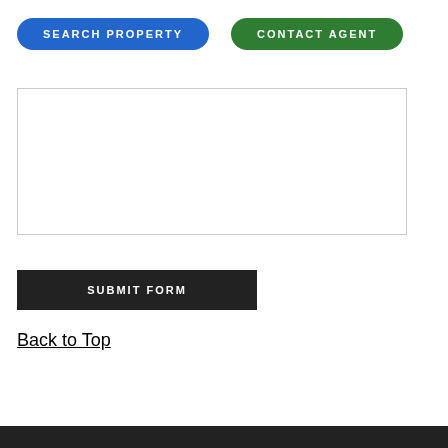[Figure (screenshot): Two navigation buttons: blue rounded 'SEARCH PROPERTY' button and green rounded 'CONTACT AGENT' button]
[Figure (screenshot): Empty textarea input field with resize handle in bottom-right corner]
[Figure (screenshot): Dark rectangular 'SUBMIT FORM' button]
Back to Top
[Figure (screenshot): Dark footer bar at bottom of page]